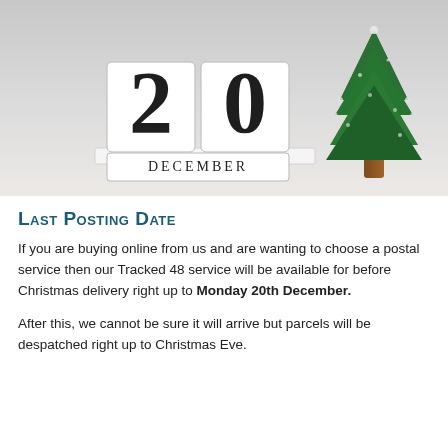[Figure (photo): Photo of a white wooden block calendar showing '20 DECEMBER' with a small green frosted Christmas tree beside it on a white surface]
Last Posting Date
If you are buying online from us and are wanting to choose a postal service then our Tracked 48 service will be available for before Christmas delivery right up to Monday 20th December.
After this, we cannot be sure it will arrive but parcels will be despatched right up to Christmas Eve.